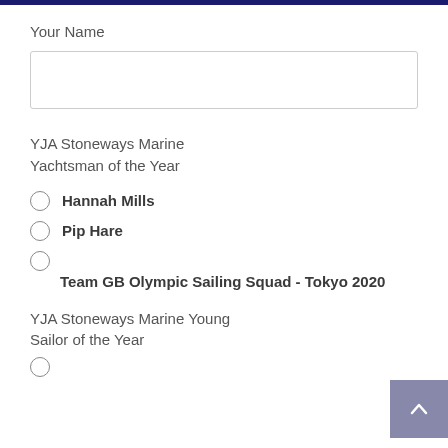Your Name
YJA Stoneways Marine Yachtsman of the Year
Hannah Mills
Pip Hare
Team GB Olympic Sailing Squad - Tokyo 2020
YJA Stoneways Marine Young Sailor of the Year